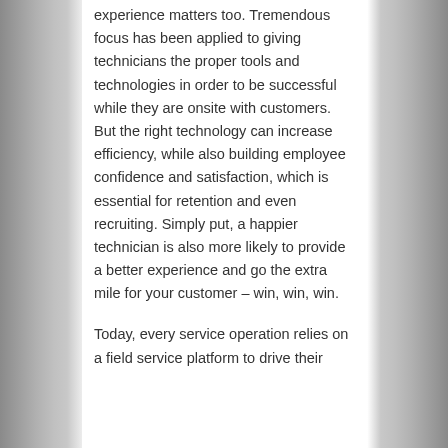experience matters too. Tremendous focus has been applied to giving technicians the proper tools and technologies in order to be successful while they are onsite with customers. But the right technology can increase efficiency, while also building employee confidence and satisfaction, which is essential for retention and even recruiting. Simply put, a happier technician is also more likely to provide a better experience and go the extra mile for your customer – win, win, win.
Today, every service operation relies on a field service platform to drive their